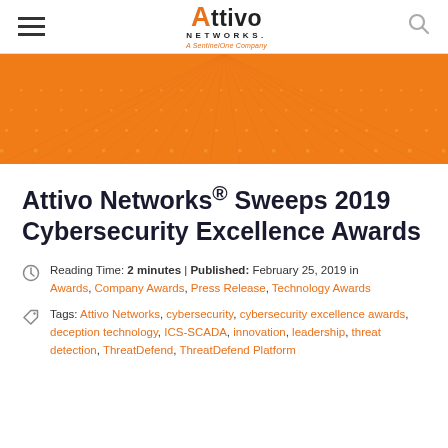Attivo Networks — A SentinelOne Company navigation header
[Figure (illustration): Orange decorative banner with radial dot/line pattern converging to a vanishing point, Attivo Networks branding background]
Attivo Networks® Sweeps 2019 Cybersecurity Excellence Awards
Reading Time: 2 minutes | Published: February 25, 2019 in Awards, Company Awards, Press Release, Technology Awards
Tags: Attivo Networks, cybersecurity, cybersecurity excellence awards, deception technology, ICS-SCADA, innovation, leadership, threat detection, ThreatDefend, ThreatDefend Platform